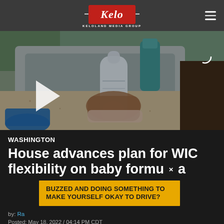Keloland Media Group
[Figure (photo): Video thumbnail showing a hand holding a baby bottle over a kitchen sink, with dish soap in the background. A play button is visible on the left side.]
WASHINGTON
House advances plan for WIC flexibility on baby formula
BUZZED AND DOING SOMETHING TO MAKE YOURSELF OKAY TO DRIVE?
by: Ra...
Posted: May 18, 2022 / 04:14 PM CDT